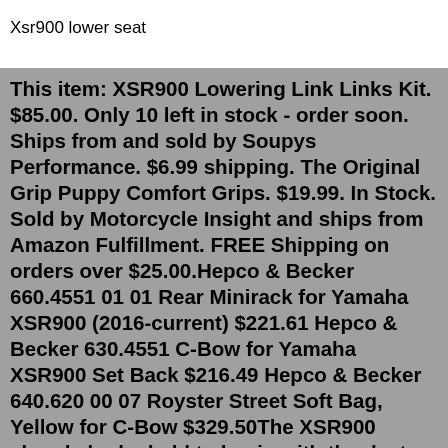Xsr900 lower seat
This item: XSR900 Lowering Link Links Kit. $85.00. Only 10 left in stock - order soon. Ships from and sold by Soupys Performance. $6.99 shipping. The Original Grip Puppy Comfort Grips. $19.99. In Stock. Sold by Motorcycle Insight and ships from Amazon Fulfillment. FREE Shipping on orders over $25.00.Hepco & Becker 660.4551 01 01 Rear Minirack for Yamaha XSR900 (2016-current) $221.61 Hepco & Becker 630.4551 C-Bow for Yamaha XSR900 Set Back $216.49 Hepco & Becker 640.620 00 07 Royster Street Soft Bag, Yellow for C-Bow $329.50The XSR900 already looked old to begin with thanks to its seat and single head-lamp lighting configuration, but Yamaha has decided to crank the Retro knob up to an insane degree for 2022. The new XSR900 boasts a brand new box-style bench seat (it looks much older, go figure), among some other small